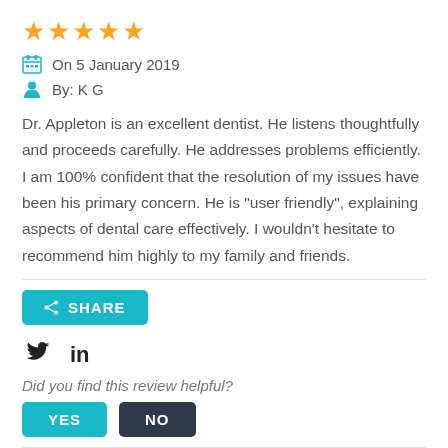[Figure (other): Five gold star rating icons]
On 5 January 2019
By: K G
Dr. Appleton is an excellent dentist. He listens thoughtfully and proceeds carefully. He addresses problems efficiently. I am 100% confident that the resolution of my issues have been his primary concern. He is "user friendly", explaining aspects of dental care effectively. I wouldn't hesitate to recommend him highly to my family and friends.
[Figure (other): Share button (teal), Twitter and LinkedIn icons, 'Did you find this review helpful?' with YES and NO buttons]